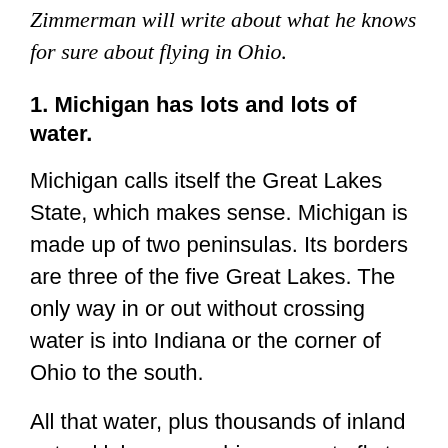Zimmerman will write about what he knows for sure about flying in Ohio.
1. Michigan has lots and lots of water.
Michigan calls itself the Great Lakes State, which makes sense. Michigan is made up of two peninsulas. Its borders are three of the five Great Lakes. The only way in or out without crossing water is into Indiana or the corner of Ohio to the south.
All that water, plus thousands of inland natural lakes, are a big reason to fly to Michigan. But they are also a reason to plan your route carefully if you are